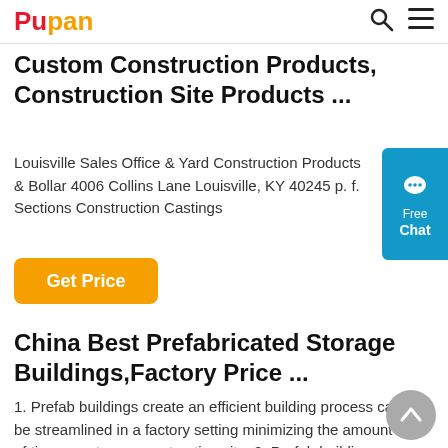Pupan
Custom Construction Products, Construction Site Products ...
Louisville Sales Office & Yard Construction Products & Bollar 4006 Collins Lane Louisville, KY 40245 p. f. Sections Construction Castings
Get Price
China Best Prefabricated Storage Buildings,Factory Price ...
1. Prefab buildings create an efficient building process can be streamlined in a factory setting minimizing the amount of time spent on a construction site. 2. Prefab buildings can be built faster and with fewer hurdles than site-built construction.